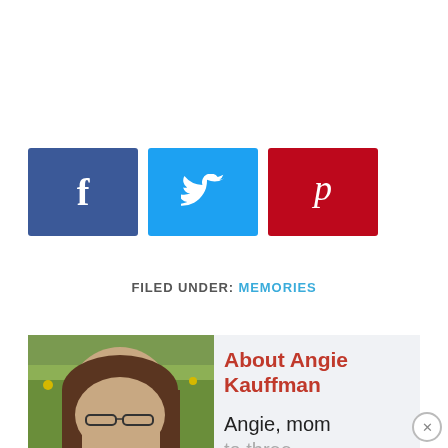[Figure (other): Social share buttons: Facebook (blue, f icon), Twitter (light blue, bird icon), Pinterest (red, p icon)]
FILED UNDER: MEMORIES
[Figure (photo): Photo of Angie Kauffman, a woman with brown hair and glasses, outdoors in front of yellow flowers/greenery]
About Angie Kauffman
Angie, mom
to three